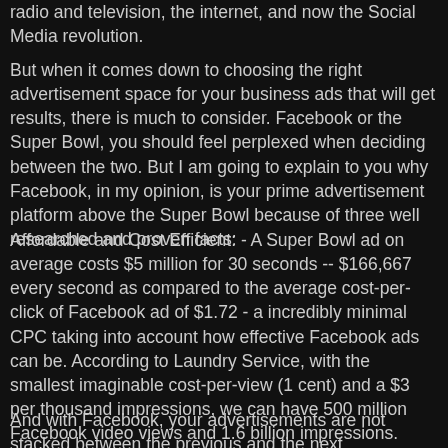radio and television, the internet, and now the Social Media revolution.
But when it comes down to choosing the right advertisement space for your business ads that will get results, there is much to consider. Facebook or the Super Bowl, you should feel perplexed when deciding between the two. But I am going to explain to you why Facebook, in my opinion, is your prime advertisement platform above the Super Bowl because of three well researched and proven facts:
Affordable and Cost Efficient: - A Super Bowl ad on average costs $5 million for 30 seconds -- $166,667 every second as compared to the average cost-per-click of Facebook ad of $1.72 - a incredibly minimal CPC taking into account how effective Facebook ads can be. According to Laundry Service, with the smallest imaginable cost-per-view (1 cent) and a $3 per thousand impressions, we can have 500 million Facebook video views and 1.6 billion impressions. Easy. Right? Facebook!
And with Facebook, your advertisements are not stacked between the previous and the next commercial; actually you